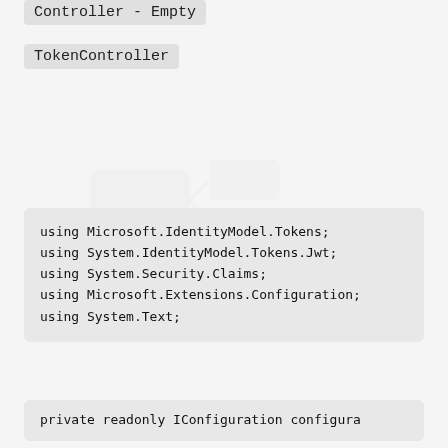Controller - Empty
TokenController
[Figure (screenshot): Background watermark/illustration in the middle of the page]
using Microsoft.IdentityModel.Tokens;
using System.IdentityModel.Tokens.Jwt;
using System.Security.Claims;
using Microsoft.Extensions.Configuration;
using System.Text;
private readonly IConfiguration configura